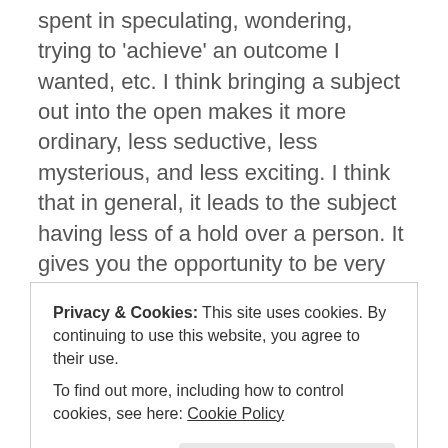spent in speculating, wondering, trying to 'achieve' an outcome I wanted, etc. I think bringing a subject out into the open makes it more ordinary, less seductive, less mysterious, and less exciting. I think that in general, it leads to the subject having less of a hold over a person. It gives you the opportunity to be very clear (while still being compassionate) that while this is a subject you are more than happy to talk about, your boundaries as the same as they would be in therapy (if this is the case) and neither going out nor a friendship are possible, and would be, in your view, unethical (or whatever reflects your own position on the matter). I also think that if his insinuations are making you uncomfortable, this would be a reason to address them as well. I think the danger of bringing it out into the open is that I think it's
Privacy & Cookies: This site uses cookies. By continuing to use this website, you agree to their use.
To find out more, including how to control cookies, see here: Cookie Policy
therapist always questions what something _means_, in a